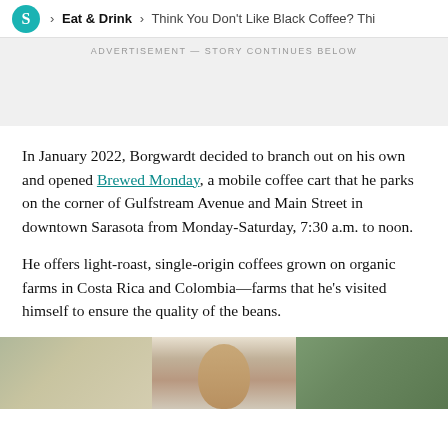> Eat & Drink > Think You Don't Like Black Coffee? Thi
ADVERTISEMENT — STORY CONTINUES BELOW
In January 2022, Borgwardt decided to branch out on his own and opened Brewed Monday, a mobile coffee cart that he parks on the corner of Gulfstream Avenue and Main Street in downtown Sarasota from Monday-Saturday, 7:30 a.m. to noon.
He offers light-roast, single-origin coffees grown on organic farms in Costa Rica and Colombia—farms that he's visited himself to ensure the quality of the beans.
[Figure (photo): Partial photo of a person with reddish-brown hair and glasses, outdoors with greenery in background, cropped at bottom of page]